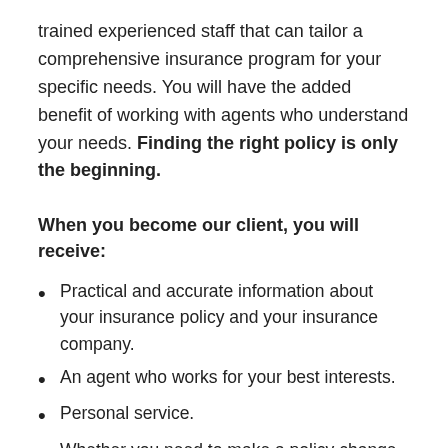trained experienced staff that can tailor a comprehensive insurance program for your specific needs. You will have the added benefit of working with agents who understand your needs. Finding the right policy is only the beginning.
When you become our client, you will receive:
Practical and accurate information about your insurance policy and your insurance company.
An agent who works for your best interests.
Personal service.
Whether you need to make a policy change, have a question about billing or need to report a claim our customer service